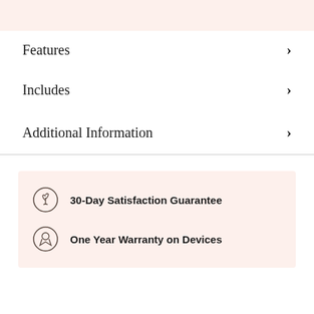Features ›
Includes ›
Additional Information ›
30-Day Satisfaction Guarantee
One Year Warranty on Devices